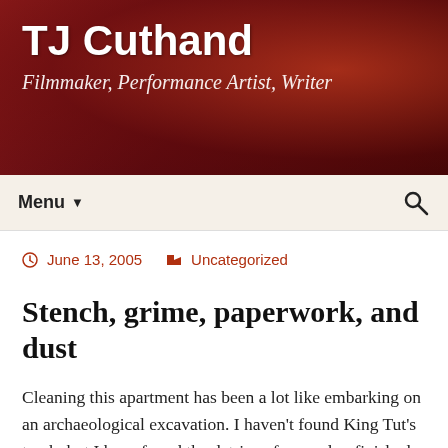TJ Cuthand
Filmmaker, Performance Artist, Writer
[Figure (photo): Dark red/maroon toned banner with person wearing red clothing, serving as website header background]
Menu ▼
🔍
June 13, 2005   Uncategorized
Stench, grime, paperwork, and dust
Cleaning this apartment has been a lot like embarking on an archaeological excavation. I haven't found King Tut's tomb, but I have found the detrius of several unfinished scripts and video ideas. Re-reading some of them has been terribly delightful, though not inspiring. I can see why most of them didn't even make it to tape.